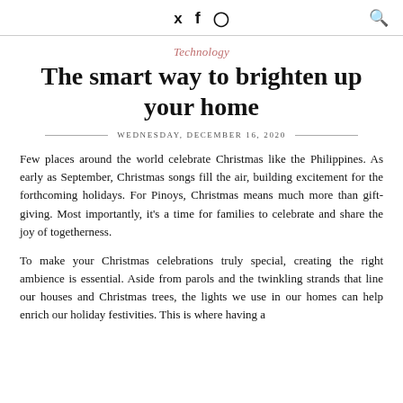Twitter Facebook Instagram Search
Technology
The smart way to brighten up your home
WEDNESDAY, DECEMBER 16, 2020
Few places around the world celebrate Christmas like the Philippines. As early as September, Christmas songs fill the air, building excitement for the forthcoming holidays. For Pinoys, Christmas means much more than gift-giving. Most importantly, it's a time for families to celebrate and share the joy of togetherness.
To make your Christmas celebrations truly special, creating the right ambience is essential. Aside from parols and the twinkling strands that line our houses and Christmas trees, the lights we use in our homes can help enrich our holiday festivities. This is where having a